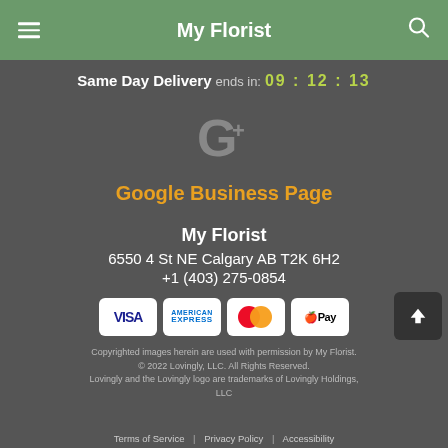My Florist
Same Day Delivery ends in: 09 : 12 : 13
[Figure (logo): Google G+ logo icon in grey]
Google Business Page
My Florist
6550 4 St NE Calgary AB T2K 6H2
+1 (403) 275-0854
[Figure (infographic): Payment method icons: VISA, American Express, MasterCard, Apple Pay, and a back-to-top arrow button]
Copyrighted images herein are used with permission by My Florist.
© 2022 Lovingly, LLC. All Rights Reserved.
Lovingly and the Lovingly logo are trademarks of Lovingly Holdings, LLC
Terms of Service | Privacy Policy | Accessibility